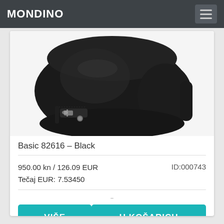MONDINO
[Figure (photo): Close-up photo of a black leather handbag with silver buckle hardware on a white background]
Basic 82616 – Black
950.00 kn / 126.09 EUR
Tečaj EUR: 7.53450
ID:000743
VIŠE
U KOŠARICU